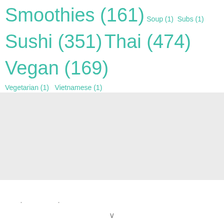Smoothies (161) Soup (1) Subs (1) Sushi (351) Thai (474) Vegan (169) Vegetarian (1) Vietnamese (1)
[Figure (other): Gray banner/advertisement placeholder area]
. .
v